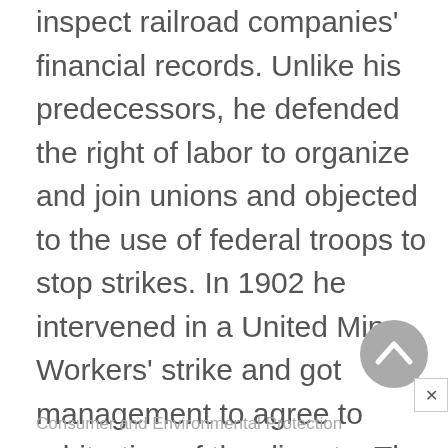inspect railroad companies' financial records. Unlike his predecessors, he defended the right of labor to organize and join unions and objected to the use of federal troops to stop strikes. In 1902 he intervened in a United Mine Workers' strike and got management to agree to arbitration of the dispute. The arbitrators awarded the miners a wage increase and a shortened workday.
Consumer and Environmental Protection